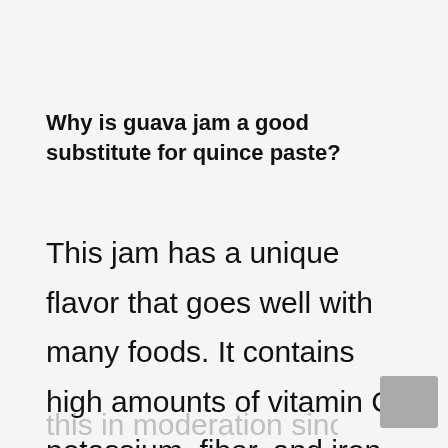Why is guava jam a good substitute for quince paste?
This jam has a unique flavor that goes well with many foods. It contains high amounts of vitamin C, potassium, fiber, and iron. You just have to eat this in moderation since it contains